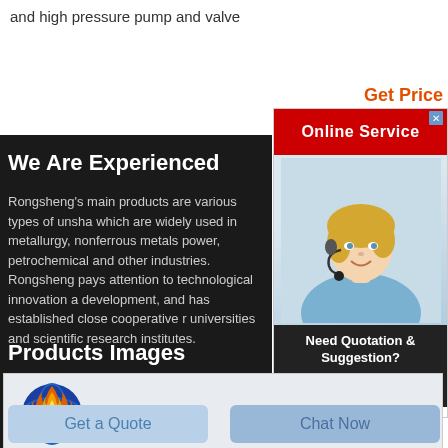and high pressure pump and valve
Get Price
[Figure (screenshot): Online Service popup with woman wearing headset, Need Quotation & Suggestion? Free Chat button]
We Are Experienced
Rongsheng's main products are various types of unsha which are widely used in metallurgy, nonferrous metals power, petrochemical and other industries. Rongsheng pays attention to technological innovation a development, and has established close cooperative r universities and scientific research institutes.
Products Images
[Figure (logo): Rongsheng logo - blue globe with flame, text Rongsheng]
Get a Quote
Chat Now